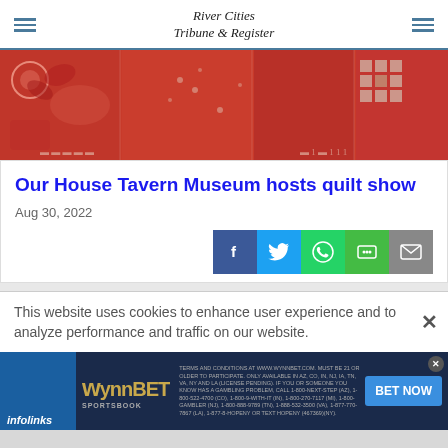River Cities Tribune & Register
[Figure (photo): Red and cream patterned quilt fabric close-up]
Our House Tavern Museum hosts quilt show
Aug 30, 2022
[Figure (other): Social share buttons: Facebook, Twitter, WhatsApp, SMS, Email]
This website uses cookies to enhance user experience and to analyze performance and traffic on our website.
[Figure (other): WynnBET Sportsbook advertisement banner with BET NOW button]